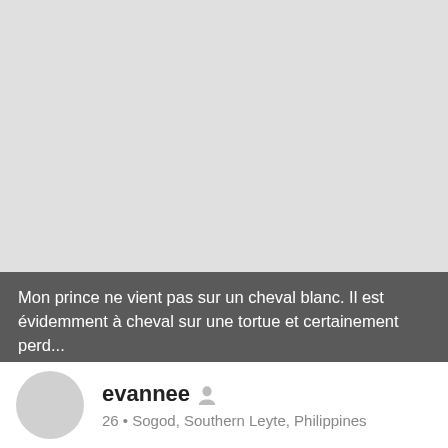[Figure (screenshot): Light grey image area at top of screenshot, appearing to be a blurred or blank background photo]
Mon prince ne vient pas sur un cheval blanc. Il est évidemment à cheval sur une tortue et certainement perd...
evannee
26 • Sogod, Southern Leyte, Philippines